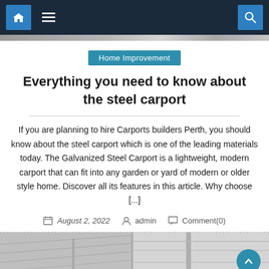Home Improvement
Everything you need to know about the steel carport
If you are planning to hire Carports builders Perth, you should know about the steel carport which is one of the leading materials today. The Galvanized Steel Carport is a lightweight, modern carport that can fit into any garden or yard of modern or older style home. Discover all its features in this article. Why choose [...]
August 2, 2022  admin  Comment(0)
[Figure (photo): Bottom portion of a steel carport structure, grayscale photo]